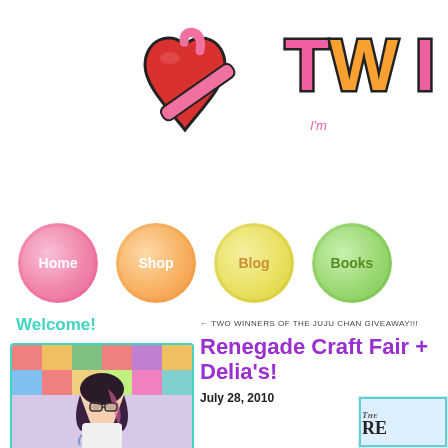[Figure (logo): Twinkie Chan website logo: red heart with pink crochet hook, and colorful 'TWIN' text in pink, orange letters with black outlines, tagline 'I'm...' in pink]
[Figure (infographic): Navigation buttons: four circular yarn-ball shaped buttons labeled Home (pink), Shop (orange), Blog (yellow), Books (green)]
Welcome!
[Figure (photo): Photo of a woman with long dark hair with pink highlights, wearing glasses and a white top, standing in front of colorful yarn shelves]
← TWO WINNERS OF THE JUJU CHAN GIVEAWAY!!!
Renegade Craft Fair + Delia's!
July 28, 2010
[Figure (screenshot): Partial thumbnail image with 'The RE' text visible, teal/cyan border]